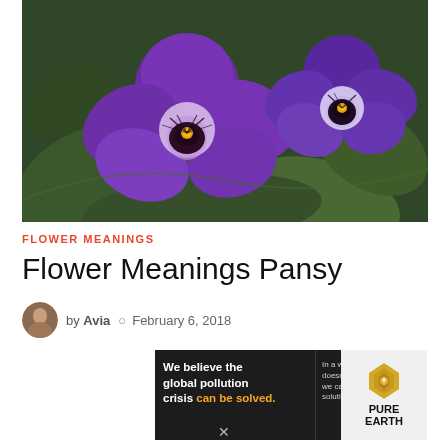[Figure (photo): Close-up photograph of vibrant purple pansy flowers with yellow and dark centers against green leaves background]
FLOWER MEANINGS
Flower Meanings Pansy
by Avia  February 6, 2018
[Figure (other): Advertisement banner for Pure Earth organization: 'We believe the global pollution crisis can be solved. In a world where pollution doesn't stop at borders, we can all be part of the solution. JOIN US.' with Pure Earth logo]